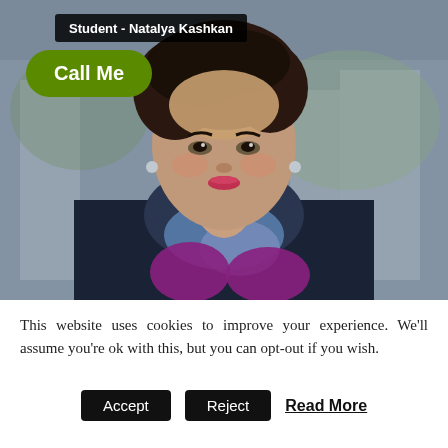[Figure (photo): Portrait photo of a woman (Natalya Kashkan) with short dark hair, wearing a navy coat, blue/purple scarf, and purple gloves, with an outdoor blurred background. Overlaid with a name label 'Student - Natalya Kashkan' and a green 'Call Me' button.]
This website uses cookies to improve your experience. We'll assume you're ok with this, but you can opt-out if you wish.
Accept  Reject  Read More